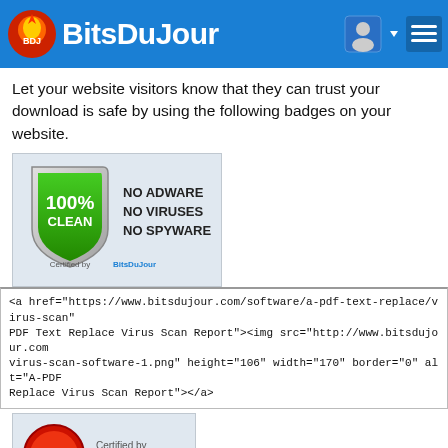BitsDuJour
Let your website visitors know that they can trust your download is safe by using the following badges on your website.
[Figure (screenshot): 100% Clean badge: shield with green 100% CLEAN text, NO ADWARE NO VIRUSES NO SPYWARE, Certified by BitsDuJour]
<a href="https://www.bitsdujour.com/software/a-pdf-text-replace/virus-scan" PDF Text Replace Virus Scan Report"><img src="http://www.bitsdujour.com virus-scan-software-1.png" height="106" width="170" border="0" alt="A-PDF Replace Virus Scan Report"></a>
[Figure (screenshot): Upside-down badge showing CLEAN NO SPYWARE, Certified by BitsDuJour]
<a href="https://www.bitsdujour.com/software/a-pdf-text-replace/virus-scan" PDF Text Replace Virus Scan Report"><img src="http://www.bitsdujour.com virus-scan-software-2.png" height="106" width="156" border="0" alt="A-PDF Replace Virus Scan Report"></a>
[Figure (screenshot): Gold badge partially visible, Certified by BitsDuJour]